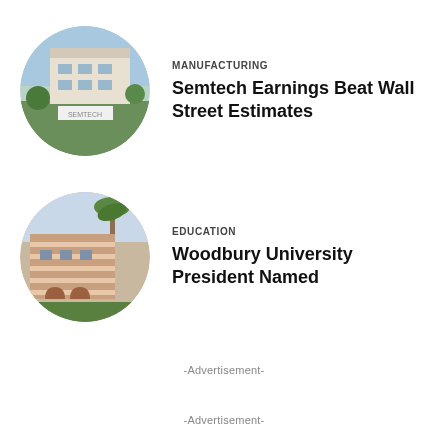[Figure (photo): Circular photo of Semtech building exterior with sign and landscaping]
MANUFACTURING
Semtech Earnings Beat Wall Street Estimates
[Figure (photo): Circular photo of Woodbury University building with palm trees and terracotta architecture]
EDUCATION
Woodbury University President Named
-Advertisement-
-Advertisement-